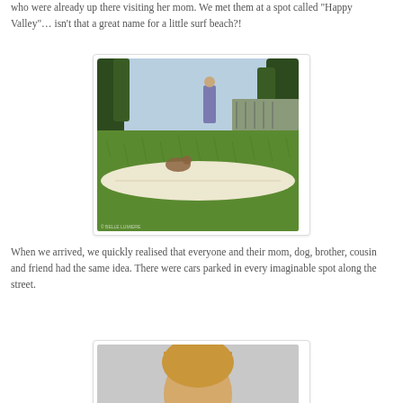who were already up there visiting her mom.  We met them at a spot called "Happy Valley"… isn't that a great name for a little surf beach?!
[Figure (photo): A surfboard lying on green grass at a beach park, with trees and a person in the background near the ocean.]
When we arrived, we quickly realised that everyone and their mom, dog, brother, cousin and friend had the same idea.  There were cars parked in every imaginable spot along the street.
[Figure (photo): Partial photo at bottom of page showing a person, cropped.]